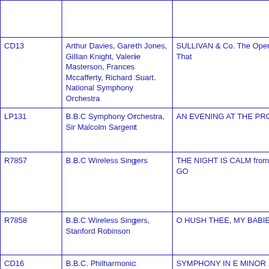| Catalog No. | Artists | Title |
| --- | --- | --- |
|  |  |  |
| CD13 | Arthur Davies, Gareth Jones, Gillian Knight, Valerie Masterson, Frances Mccafferty, Richard Suart. National Symphony Orchestra | SULLIVAN & Co. The Operas That |
| LP131 | B.B.C Symphony Orchestra, Sir Malcolm Sargent | AN EVENING AT THE PROMS |
| R7857 | B.B.C Wireless Singers | THE NIGHT IS CALM from THE GO |
| R7858 | B.B.C Wireless Singers, Stanford Robinson | O HUSH THEE, MY BABIE |
| CD16 | B.B.C. Philharmonic | SYMPHONY IN E MINOR `IRISH'; MEMORIAM; SUITE FROM `THE T |